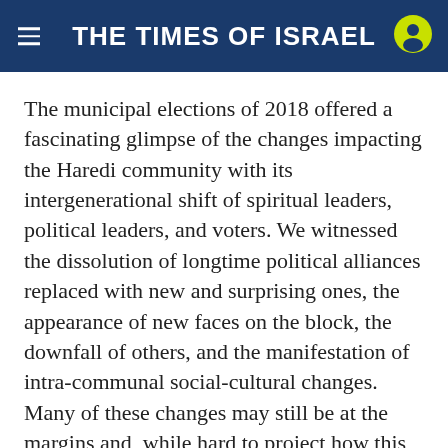THE TIMES OF ISRAEL
The municipal elections of 2018 offered a fascinating glimpse of the changes impacting the Haredi community with its intergenerational shift of spiritual leaders, political leaders, and voters. We witnessed the dissolution of longtime political alliances replaced with new and surprising ones, the appearance of new faces on the block, the downfall of others, and the manifestation of intra-communal social-cultural changes. Many of these changes may still be at the margins and, while hard to project how this change will develop, it is hard to deny their importance.
[Figure (infographic): Social sharing icons: Facebook (blue circle), Twitter (light blue circle), Email (red circle), WhatsApp (green circle)]